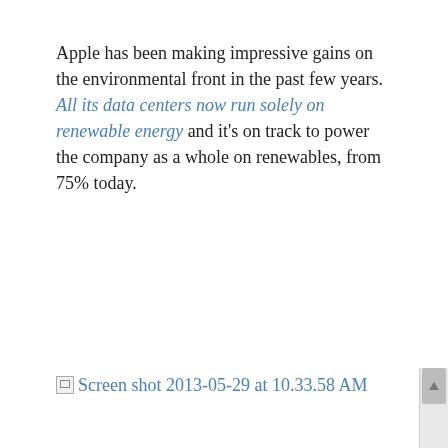Apple has been making impressive gains on the environmental front in the past few years. All its data centers now run solely on renewable energy and it's on track to power the company as a whole on renewables, from 75% today.
[Figure (screenshot): Broken image placeholder with alt text 'Screen shot 2013-05-29 at 10.33.58 AM' shown as a link]
Last year, Apple added biogas-powered fuel cells and solar PV at its Cupertino headquarters, while also reducing energy consumption by 30% from the previous year.
In Maiden, North Carolina, Apple has completed the biggest corporate-owned solar PV (25 MW) and fuel cell system (10 MW), which are now supplying 60% of the energy for the $1 billion LEED-Platinum data center, its largest yet. Apple is purchasing renewable energy from nearby facilities to make up the